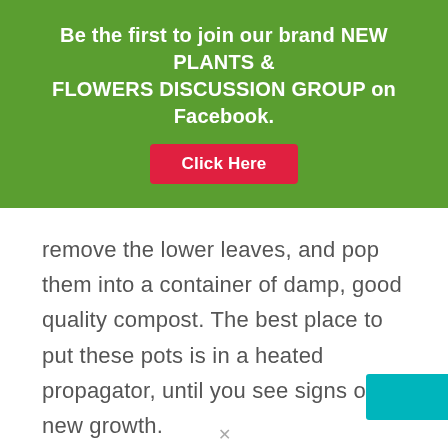Be the first to join our brand NEW PLANTS & FLOWERS DISCUSSION GROUP on Facebook.
Click Here
remove the lower leaves, and pop them into a container of damp, good quality compost. The best place to put these pots is in a heated propagator, until you see signs of new growth.